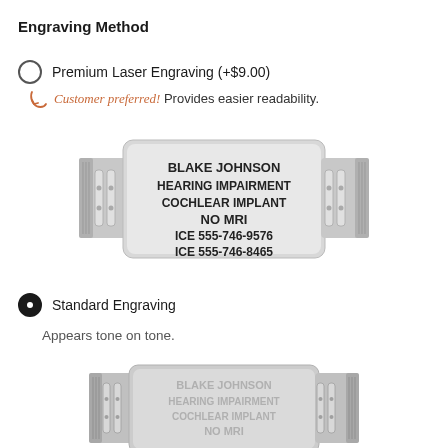Engraving Method
Premium Laser Engraving (+$9.00)
Customer preferred! Provides easier readability.
[Figure (photo): Silver medical ID bracelet tag engraved with: BLAKE JOHNSON / HEARING IMPAIRMENT / COCHLEAR IMPLANT / NO MRI / ICE 555-746-9576 / ICE 555-746-8465]
Standard Engraving
Appears tone on tone.
[Figure (photo): Silver medical ID bracelet tag with tone-on-tone engraving showing: BLAKE JOHNSON / HEARING IMPAIRMENT / COCHLEAR IMPLANT / NO MRI (partially visible)]